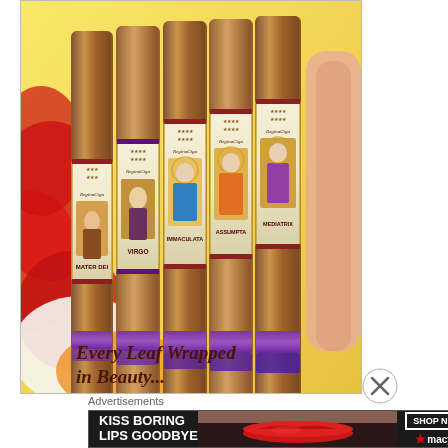[Figure (photo): Advertisement for Regina Cigars showing five cigars with decorative labels featuring religious figures (Mater Dei, Virgo, Immaculata, Assunta, Mediatrix) tied with purple ribbon, surrounded by rose petals on a golden background. Text reads 'Every Leaf Wrapped in Beauty...']
Advertisements
[Figure (photo): Macy's advertisement banner: 'KISS BORING LIPS GOODBYE' with a photo of a woman's lips wearing red lipstick, and 'SHOP NOW' button with Macy's star logo]